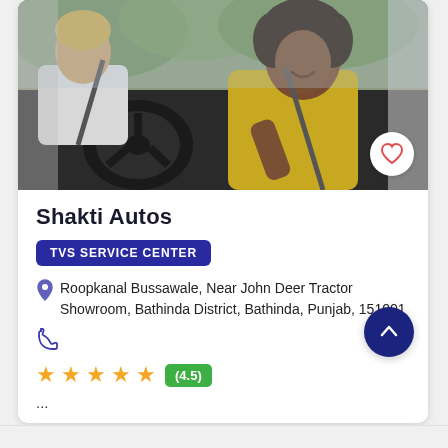[Figure (photo): Photo of two people inside a car; woman in yellow sweater driving, man in white shirt in passenger seat, seatbelts on, greenery visible in background]
Shakti Autos
TVS SERVICE CENTER
Roopkanal Bussawale, Near John Deer Tractor Showroom, Bathinda District, Bathinda, Punjab, 151001
[Figure (other): Phone icon]
★★★★☆ (4.5)
...